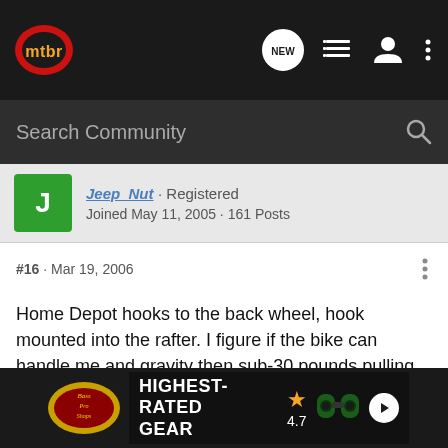mtbr — navigation bar with logo and icons (NEW, list, user, menu)
Search Community
Jeep_Nut · Registered
Joined May 11, 2005 · 161 Posts
#16 · Mar 19, 2006
Home Depot hooks to the back wheel, hook mounted into the rafter. I figure if the bike can handle me and gravity then sub-30 pounds pulling on a wheel will not hurt it. Got 4 bikes hanging this way, with a variety of forks/shocks.
[Figure (screenshot): Bass Pro Shops advertisement banner: HIGHEST-RATED GEAR with star rating 4.7 and binoculars image]